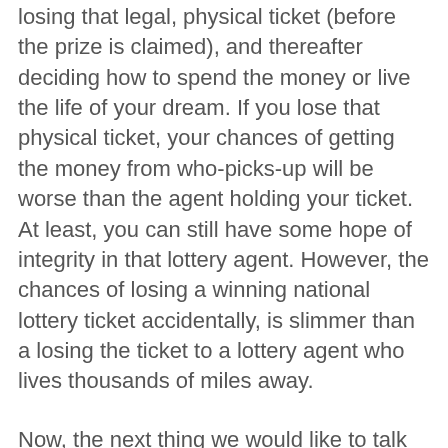losing that legal, physical ticket (before the prize is claimed), and thereafter deciding how to spend the money or live the life of your dream. If you lose that physical ticket, your chances of getting the money from who-picks-up will be worse than the agent holding your ticket. At least, you can still have some hope of integrity in that lottery agent. However, the chances of losing a winning national lottery ticket accidentally, is slimmer than a losing the ticket to a lottery agent who lives thousands of miles away.
Now, the next thing we would like to talk about is freelotto.com. They are not selling national lottery tickets and they are not agents. However, they claim that you can play for free and you will win the money earned from their advertising fees. Ever since I signed up, I have been receiving letters pestering me to play every day. And when I access the site, the webpage will keep redirecting me to pay for automatic number insertion, which is a payable service. Well, we don't